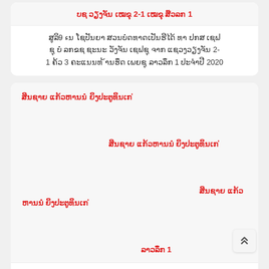ບຊ ວຽງຈັນ ເໝຂຸ 2-1 ເໝຂຸ ສ໊ວລກ 1
ສູລິء 9ນ ໂຊປັນຍາ ສວນບໍດທາດເປັນຮີໄດ ທາ ປກສ ເຊຟ ຊຸ ບໍ ລກຂຊ ຊະນະ ວັງຈັນ ເຊຟຊຸ ຈາກ ແຊວງວຽງຈັນ 2-1 ຄ້ວ 3 ຄະແນນທ​ ້ານຮຶດ ເພຍຊຸ ລາວລຶກ 1 ປະຈໍາປີ 2020
ສິນຊາຍ ແກ້ວຫານນໍ ຍິງປະຕູທິນເກ​ ່ີ ເວສະຄ​ ້ 1 ເຊັດໃຫ້ ຊ້ານງ​ ່ ບ​ ່ ວຍ ສະເໜີ ເວສະຄ​ ້ 1 1-1 ນ​ ​ ້ ດ ເປ​ ​ ່ ​ ​ ​ ​ ​ ​ ​ ​ ​ ​ ​ ​ ​ ​ ​ ​ ​ ​ ​ ​ ​ ​ ​ ​ ​ ​ ​ ​ ​ ​ ​ ​ ​ ​ ​ ​ ​ ​ ​ ​ ​ ​ ​ ​ ​ ​ ​ ​ ​ ​ ​ ​ ​ ​ ​ ​ ​ ​ ​ ​ ​ ​ ​ ​ ​ ​ ​ ​ ​ ​ ​ ​ ​ ​ ​ ​ ​ ​ ​ ​ ​ ​ ​ ​ ​ ​ ​ ​ ​ ​ ​ ​ ​ ​ ​ ​ ​ ​ ​ ​ ​ ​ ​ ​ ​ ​ ​ ​ ​ ​ ​ ​ ​ ​ ​ ​ ​ ​ ​ ​ ​ ​ ​ ​ ​ ​ ​ ​ ​ ​ ​ ​ ​ ​ ​ ​ ​ ​ ​ ​ ​ ​ ​ ​ ​ ​ ​ ​ ​ ​ ​ ​ ​ ​ ​ ​ ​ ​ ​ ​ ​ ​ ​ ​ ​ ​ ​ ​ ​ ​ ​ ​ ​ ​ ​ ​ ​ ​ ​ ​ ​ ​ ​ ​ ​ ​ ​ ​ ​ ​ ​ ​ ​ ​ ​ ​ ​ ​ ​ ​ ​ ​ ​ ​ ​ ​ ​ ​ ​ ​ ​ ​ ​ ​ ​ ​ ​ ​ ​ ​ ​ ​ ​ ​ ​ ​ ​ ​ ​ ​ ​ ​ ​ ​ ​ ​ ​ ​ ​ ​ ​ ​ ​ ​ ​ ​ ​ ​ ​ ​ ​ ​ ​ ​ ​ ​ ​ ​ ​ ​ ​ ​ ​ ​ ​ ​ ​ ​ ​ ​ ​ ​ ​ ​ ​ ​ ​ ​ ​ ​ ​ ​ ​ ​ ​ ​ ​ ​ ​ ​ ​ ​ ​ ​ ​ ​ ​ ​ ​ ​ ​ ​ ​ ​ ​ ​ ​ ​ ​ ​ ​ ​ ​ ​ ​ ​ ​ ​ ​ ​ ​ ​ ​ ​ ​ ​ ​ ​ ​ ​ ​ ​ ​ ​ ​ ​ ​ ​ ​ ​ ​ ​ ​ ​ ​ ​ ​ ​ ​ ​ ​ ​ ​ ​ ​ ​ ​ ​ ​
ສິນ ຊາຍ ແກ້ວຫານນໍ ຍິງປະຕູທິນເກ​ ່ ​ ​ ​ ​ ​ ​ ​ ​ ​ ​ ​ ​ ​ ​ ​ ​ ​ ​ ​ ​ ​ ​ ​ ​ ​ ​ ​ ​ ​ ​ ​ ​ ​ ​ ​ ​ ​ ​ ​ ​ ​ ​ ​ ​ ​ ​ ​ ​ ​ ​ ​ ​ ​ ​ ​ ​ ​ ​ ​ ​ ​ ​ ​ ​ ​ ​ ​ ​ ​ ​ ​ ​ ​ ​ ​ ​ ​ ​ ​ ​ ​ ​ ​ ​ ​ ​ ​ ​ ​ ​ ​ ​ ​ ​ ​ ​ ​ ​ ​ ​ ​ ​ ​ ​ ​ ​ ​ ​ ​ ​ ​ ​ ​ ​ ​ ​ ​ ​ ​ ​ ​ ​ ​ ​ ​ ​ ​ ​ ​ ​ ​ ​ ​ ​ ​ ​ ​ ​ ​ ​ ​ ​ ​ ​ ​ ​ ​ ​ ​ ​ ​ ​ ​ ​ ​ ​ ​ ​ ​ ​ ​ ​ ​ ​ ​ ​ ​ ​ ​ ​ ​ ​ ​ ​ ​ ​ ​ ​ ​ ​ ​ ​ ​ ​ ​ ​ ​ ​ ​ ​ ​ ​ ​ ​ ​ ​ ​ ​ ​ ​ ​ ​ ​ ​ ​ ​ ​ ​ ​ ​ ​ ​ ​ ​ ​ ​ ​ ​ ​ ​ ​ ​ ​ ​ ​ ​ ​ ​ ​ ​ ​ ​ ​ ​ ​ ​ ​ ​ ​ ​ ​ ​ ​ ​ ​ ​ ​ ​ ​ ​ ​ ​ ​ ​ ​ ​ ​ ​ ​ ​ ​ ​ ​ ​ ​ ​ ​ ​ ​ ​ ​ ​ ​ ​ ​ ​ ​ ​ ​ ​ ​ ​ ​ ​ ​ ​ ​ ​ ​ ​ ​ ​ ​ ​ ​ ​ ​ ​ ​ ​ ​ ​ ​ ​ ​ ​ ​ ​ ​